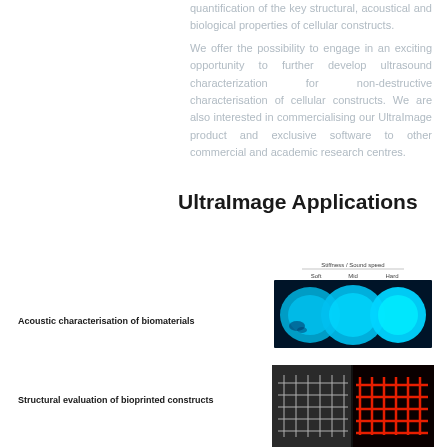quantification of the key structural, acoustical and biological properties of cellular constructs. We offer the possibility to engage in an exciting opportunity to further develop ultrasound characterization for non-destructive characterisation of cellular constructs. We are also interested in commercialising our UltraImage product and exclusive software to other commercial and academic research centres.
UltraImage Applications
Acoustic characterisation of biomaterials
[Figure (photo): Three blue-lit biomaterial samples arranged from left to right labeled Soft, Mid, Hard under a Stiffness/Sound speed scale bar. Samples appear as circular/oval shapes in bright cyan-blue on dark background.]
Structural evaluation of bioprinted constructs
[Figure (photo): Two images of bioprinted constructs side by side: left shows a white/grey grid structure, right shows a red fluorescent grid-like bioprinted scaffold on black background.]